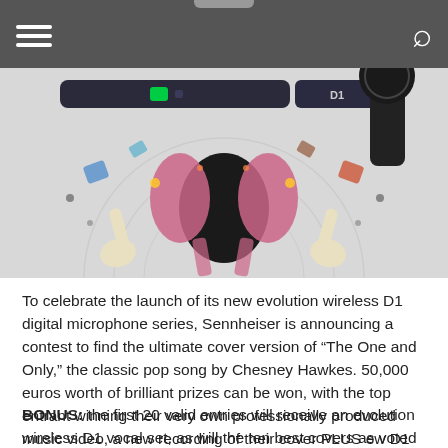[Figure (photo): Artistic promotional photo for Sennheiser evolution wireless D1 featuring microphones above a kaleidoscopic, symmetrical collage of musicians and colorful explosive imagery on a light grey background.]
To celebrate the launch of its new evolution wireless D1 digital microphone series, Sennheiser is announcing a contest to find the ultimate cover version of “The One and Only,” the classic pop song by Chesney Hawkes. 50,000 euros worth of brilliant prizes can be won, with the top entrant winning their very own professionally produced music video, a new recording of their cover PLUS ew D1 systems for their band.
BONUS: the first 20 valid entries will receive an evolution wireless D1 vocal set, as will the ten best covers as voted by the public